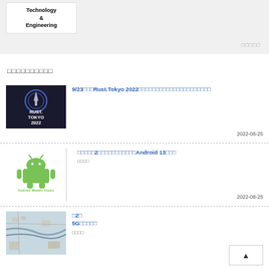[Figure (screenshot): Top navigation bar with category box showing 'Technology & Engineering' and sort label on right]
□□□□□□□□□□
[Figure (photo): Rust.Tokyo 2022 event logo on dark background]
9/23□□□Rust.Tokyo 2022□□□□□□□□□□□□□□□□□□□□□
2022-08-25
[Figure (logo): Android mascot logo with text 'Android Weekly Topics']
□□□□□2□□□□□□□□□□□Android 13□□□
□□□□
2022-08-25
[Figure (photo): Aerial/satellite map photo of a coastal city area]
□2□
5G□□□□□
□□□□